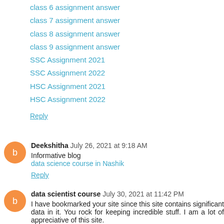class 6 assignment answer
class 7 assignment answer
class 8 assignment answer
class 9 assignment answer
SSC Assignment 2021
SSC Assignment 2022
HSC Assignment 2021
HSC Assignment 2022
Reply
Deekshitha  July 26, 2021 at 9:18 AM
Informative blog
data science course in Nashik
Reply
data scientist course  July 30, 2021 at 11:42 PM
I have bookmarked your site since this site contains significant data in it. You rock for keeping incredible stuff. I am a lot of appreciative of this site.